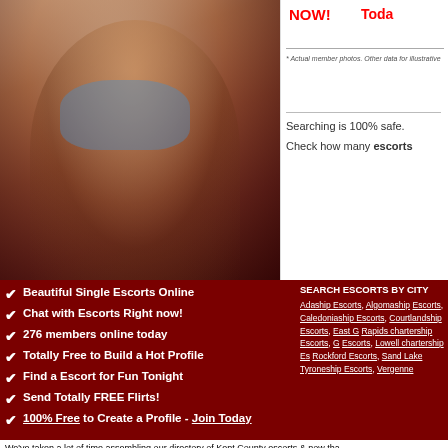[Figure (photo): Cropped photo of a young woman in a blue top and denim shorts, sitting against a dark red background]
NOW!
Toda
* Actual member photos. Other data for illustrative
Searching is 100% safe.
Check how many escorts
Beautiful Single Escorts Online
Chat with Escorts Right now!
276 members online today
Totally Free to Build a Hot Profile
Find a Escort for Fun Tonight
Send Totally FREE Flirts!
100% Free to Create a Profile - Join Today
SEARCH ESCORTS BY CITY
Adaship Escorts, Algomaship Escorts, Caledoniaship Escorts, Courtlandship Escorts, East Grand Rapids chartership Escorts, G Escorts, Lowell chartership Escorts, Rockford Escorts, Sand Lake Escorts, Tyroneship Escorts, Vergenne
We've taken a lot of time assembling our directory of Kent County escorts & now tha who is perfect for you so come in & start hunting through our list. You will have comp perfect for you & we give you that access for no cost to you. So don't wait a moment Kent County Escorts, High Class Kent County Escorts, Cheap Kent County Escorts,